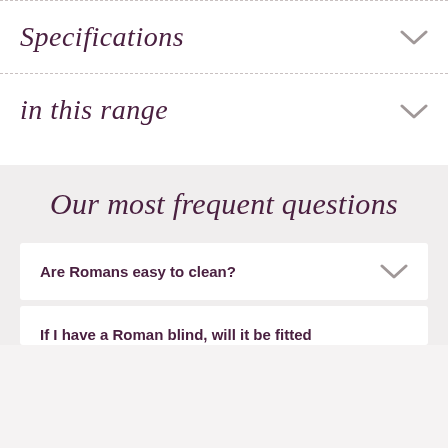Specifications
in this range
Our most frequent questions
Are Romans easy to clean?
If I have a Roman blind, will it be fitted